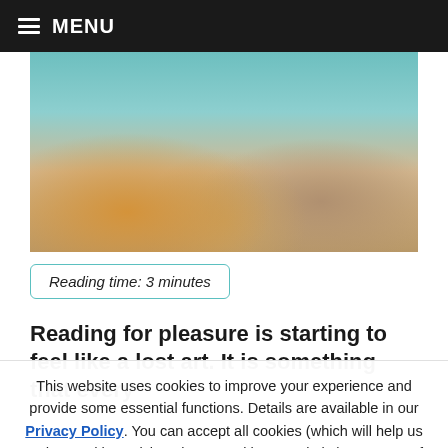MENU
[Figure (photo): Two children sitting at a desk reading a book in a library setting]
Reading time: 3 minutes
Reading for pleasure is starting to feel like a lost art. It is something that every
This website uses cookies to improve your experience and provide some essential functions. Details are available in our Privacy Policy. You can accept all cookies (which will help us understand how visitors interact with our website) or opt out of non-necessary cookies.